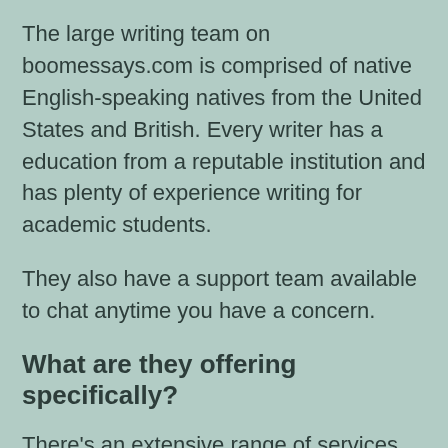The large writing team on boomessays.com is comprised of native English-speaking natives from the United States and British. Every writer has a education from a reputable institution and has plenty of experience writing for academic students.
They also have a support team available to chat anytime you have a concern.
What are they offering specifically?
There's an extensive range of services they that they provide, such as the writing of thesis,